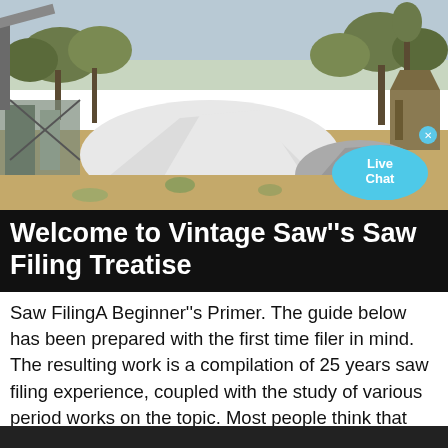[Figure (photo): Outdoor industrial/mining site with large mound of white sand/gravel, heavy machinery, wooden structures, and trees in background under a hazy sky.]
Welcome to Vintage Saw''s Saw Filing Treatise
Saw FilingA Beginner''s Primer. The guide below has been prepared with the first time filer in mind. The resulting work is a compilation of 25 years saw filing experience, coupled with the study of various period works on the topic. Most people think that sharpening a saw with a file is a skill that is just too complied to undertake.